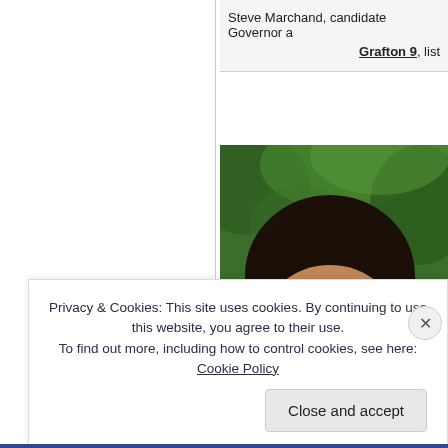Steve Marchand, candidate Governor a
Grafton 9, list
[Figure (photo): Portrait photo of a woman with curly dark hair, smiling, outdoors with green foliage in background]
Privacy & Cookies: This site uses cookies. By continuing to use this website, you agree to their use.
To find out more, including how to control cookies, see here: Cookie Policy
Close and accept